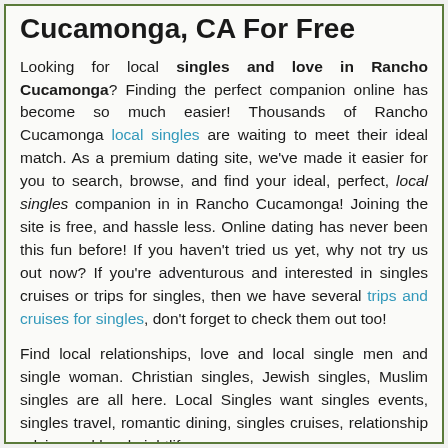Cucamonga, CA For Free
Looking for local singles and love in Rancho Cucamonga? Finding the perfect companion online has become so much easier! Thousands of Rancho Cucamonga local singles are waiting to meet their ideal match. As a premium dating site, we've made it easier for you to search, browse, and find your ideal, perfect, local singles companion in in Rancho Cucamonga! Joining the site is free, and hassle less. Online dating has never been this fun before! If you haven't tried us yet, why not try us out now? If you're adventurous and interested in singles cruises or trips for singles, then we have several trips and cruises for singles, don't forget to check them out too!
Find local relationships, love and local single men and single woman. Christian singles, Jewish singles, Muslim singles are all here. Local Singles want singles events, singles travel, romantic dining, singles cruises, relationship advice and local nightlife.